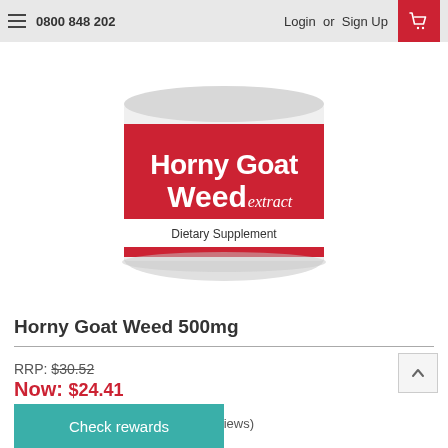0800 848 202   Login or Sign Up
[Figure (photo): Product photo of a white cylindrical supplement container with a red label reading 'Horny Goat Weed extract' and 'Dietary Supplement']
Horny Goat Weed 500mg
RRP: $30.52
Now: $24.41
eviews)